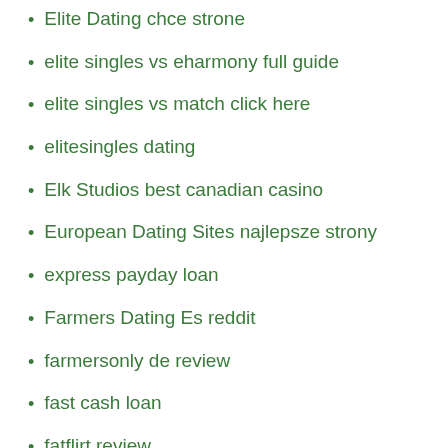Elite Dating chce strone
elite singles vs eharmony full guide
elite singles vs match click here
elitesingles dating
Elk Studios best canadian casino
European Dating Sites najlepsze strony
express payday loan
Farmers Dating Es reddit
farmersonly de review
fast cash loan
fatflirt review